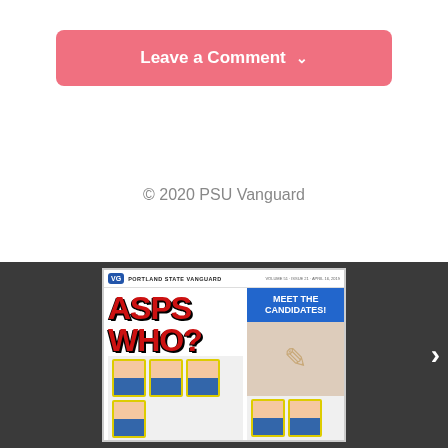Leave a Comment ▾
© 2020 PSU Vanguard
[Figure (photo): Portland State Vanguard magazine cover showing 'ASPS WHO?' in large red bold letters with a blue box reading 'MEET THE CANDIDATES!' and photos of student candidates below, viewed in a dark gray gallery slider with a right arrow navigation button.]